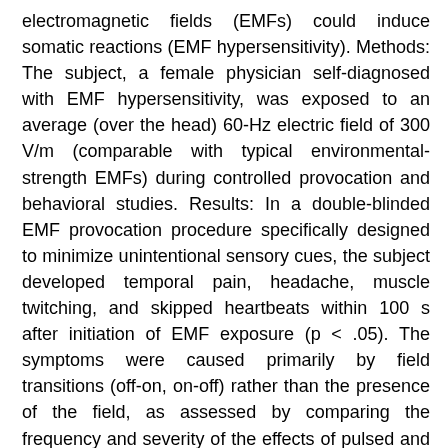electromagnetic fields (EMFs) could induce somatic reactions (EMF hypersensitivity). Methods: The subject, a female physician self-diagnosed with EMF hypersensitivity, was exposed to an average (over the head) 60-Hz electric field of 300 V/m (comparable with typical environmental-strength EMFs) during controlled provocation and behavioral studies. Results: In a double-blinded EMF provocation procedure specifically designed to minimize unintentional sensory cues, the subject developed temporal pain, headache, muscle twitching, and skipped heartbeats within 100 s after initiation of EMF exposure (p < .05). The symptoms were caused primarily by field transitions (off-on, on-off) rather than the presence of the field, as assessed by comparing the frequency and severity of the effects of pulsed and continuous fields in relation to sham exposure. The subject had no conscious perception of the field as judged by her inability to report its presence more often than in the sham control. Discussion: The subject demonstrated statistically reliable somatic reactions in response to exposure to subliminal EMFs under conditions that reasonably excluded a causative role for psychological processes. Conclusion: EMF hypersensitivity can occur as a